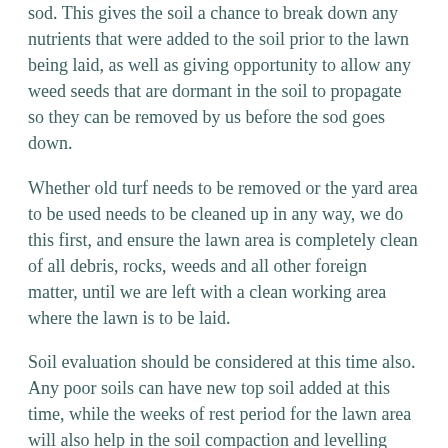sod. This gives the soil a chance to break down any nutrients that were added to the soil prior to the lawn being laid, as well as giving opportunity to allow any weed seeds that are dormant in the soil to propagate so they can be removed by us before the sod goes down.
Whether old turf needs to be removed or the yard area to be used needs to be cleaned up in any way, we do this first, and ensure the lawn area is completely clean of all debris, rocks, weeds and all other foreign matter, until we are left with a clean working area where the lawn is to be laid.
Soil evaluation should be considered at this time also. Any poor soils can have new top soil added at this time, while the weeks of rest period for the lawn area will also help in the soil compaction and levelling before the sod is put down.
Likewise, sandy or clay based soils can be further improved at this optimal time.
Natural organic or manure based soil improvers could be